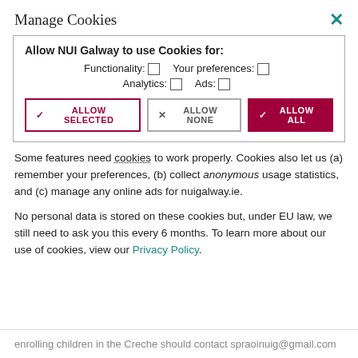Manage Cookies
[Figure (screenshot): Cookie consent dialog box with checkboxes for Functionality, Your preferences, Analytics, Ads, and buttons: Allow Selected, Allow None, Allow All]
Some features need cookies to work properly. Cookies also let us (a) remember your preferences, (b) collect anonymous usage statistics, and (c) manage any online ads for nuigalway.ie.
No personal data is stored on these cookies but, under EU law, we still need to ask you this every 6 months. To learn more about our use of cookies, view our Privacy Policy.
enrolling children in the Creche should contact spraoinuig@gmail.com